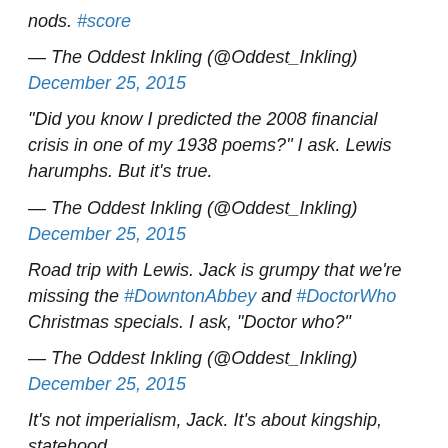nods. #score
— The Oddest Inkling (@Oddest_Inkling) December 25, 2015
"Did you know I predicted the 2008 financial crisis in one of my 1938 poems?" I ask. Lewis harumphs. But it's true.
— The Oddest Inkling (@Oddest_Inkling) December 25, 2015
Road trip with Lewis. Jack is grumpy that we're missing the #DowntonAbbey and #DoctorWho Christmas specials. I ask, "Doctor who?"
— The Oddest Inkling (@Oddest_Inkling) December 25, 2015
It's not imperialism, Jack. It's about kingship, statehood,